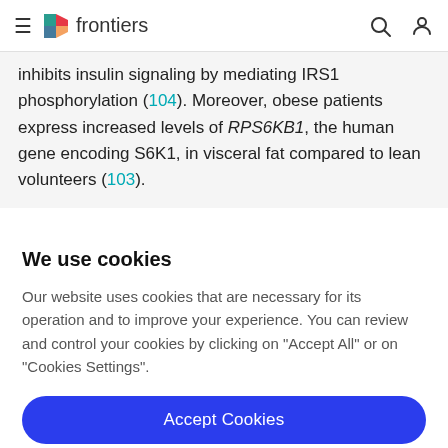frontiers
inhibits insulin signaling by mediating IRS1 phosphorylation (104). Moreover, obese patients express increased levels of RPS6KB1, the human gene encoding S6K1, in visceral fat compared to lean volunteers (103).
We use cookies
Our website uses cookies that are necessary for its operation and to improve your experience. You can review and control your cookies by clicking on "Accept All" or on "Cookies Settings".
Accept Cookies
Cookies Settings